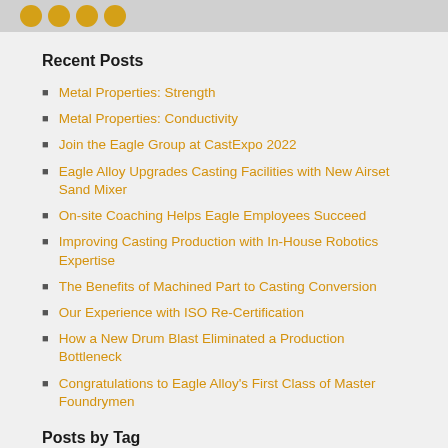[Figure (illustration): Top banner with orange/gold social media icons (circles) on a gray background]
Recent Posts
Metal Properties: Strength
Metal Properties: Conductivity
Join the Eagle Group at CastExpo 2022
Eagle Alloy Upgrades Casting Facilities with New Airset Sand Mixer
On-site Coaching Helps Eagle Employees Succeed
Improving Casting Production with In-House Robotics Expertise
The Benefits of Machined Part to Casting Conversion
Our Experience with ISO Re-Certification
How a New Drum Blast Eliminated a Production Bottleneck
Congratulations to Eagle Alloy's First Class of Master Foundrymen
Posts by Tag